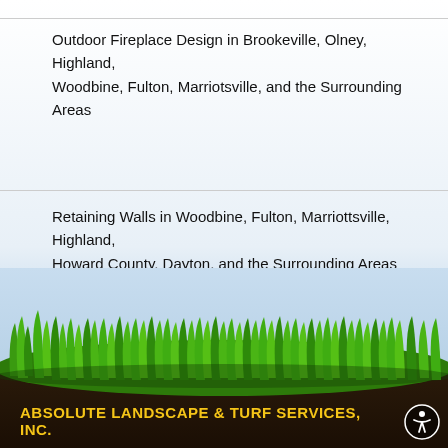Outdoor Fireplace Design in Brookeville, Olney, Highland, Woodbine, Fulton, Marriotsville, and the Surrounding Areas
Retaining Walls in Woodbine, Fulton, Marriottsville, Highland, Howard County, Dayton, and the Surrounding Areas
SEARCH BY CATEGORY
Select Category
[Figure (illustration): A photorealistic strip of green grass with soil beneath, used as a decorative page footer element.]
ABSOLUTE LANDSCAPE & TURF SERVICES, INC.